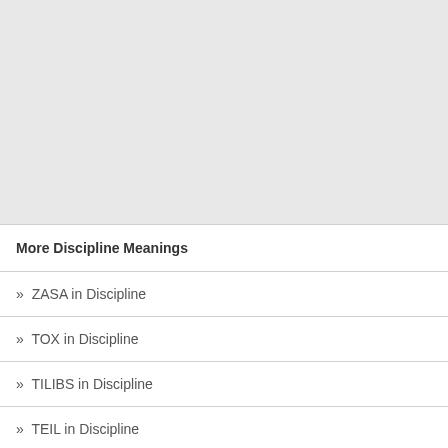[Figure (other): Gray blank area at top of page]
More Discipline Meanings
» ZASA in Discipline
» TOX in Discipline
» TILIBS in Discipline
» TEIL in Discipline
» TDVR in Discipline